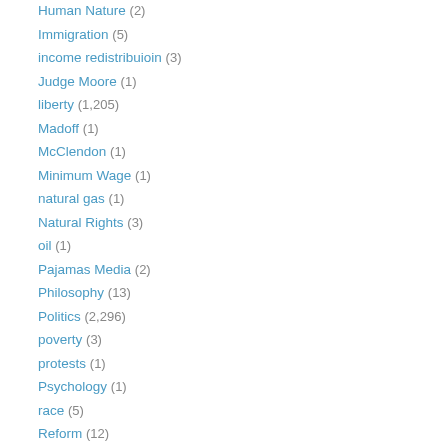Human Nature (2)
Immigration (5)
income redistribuioin (3)
Judge Moore (1)
liberty (1,205)
Madoff (1)
McClendon (1)
Minimum Wage (1)
natural gas (1)
Natural Rights (3)
oil (1)
Pajamas Media (2)
Philosophy (13)
Politics (2,296)
poverty (3)
protests (1)
Psychology (1)
race (5)
Reform (12)
Social Security (1)